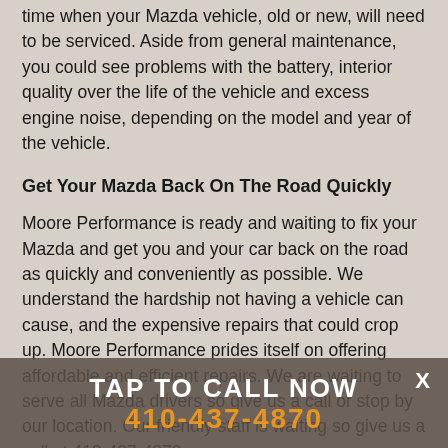time when your Mazda vehicle, old or new, will need to be serviced. Aside from general maintenance, you could see problems with the battery, interior quality over the life of the vehicle and excess engine noise, depending on the model and year of the vehicle.
Get Your Mazda Back On The Road Quickly
Moore Performance is ready and waiting to fix your Mazda and get you and your car back on the road as quickly and conveniently as possible. We understand the hardship not having a vehicle can cause, and the expensive repairs that could crop up. Moore Performance prides itself on offering affordable and efficient repairs. We are waiting to serve all Mazda drivers so give us a call or stop by our location. Our friendly staff is waiting so give us a call at 410-437-4870.
Please More About Mazda Repair Services At More...
[Figure (other): TAP TO CALL NOW call-to-action bar overlay with phone number 410-437-4870 in orange, white X close button]